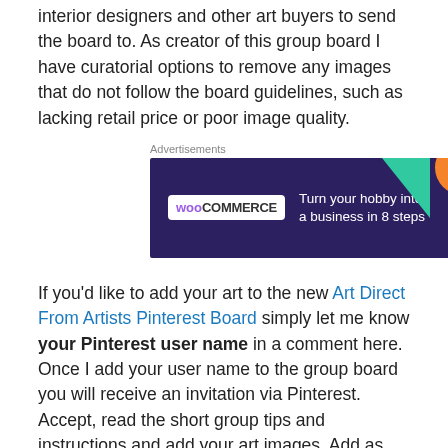interior designers and other art buyers to send the board to. As creator of this group board I have curatorial options to remove any images that do not follow the board guidelines, such as lacking retail price or poor image quality.
[Figure (other): WooCommerce advertisement banner with dark purple background. Logo on left reads 'woo COMMERCE'. Tagline reads 'Turn your hobby into a business in 8 steps'. Decorative shapes: green triangle, orange circle, blue circle. 'REPORT THIS AD' text in small grey bottom right.]
If you'd like to add your art to the new Art Direct From Artists Pinterest Board simply let me know your Pinterest user name in a comment here. Once I add your user name to the group board you will receive an invitation via Pinterest. Accept, read the short group tips and instructions and add your art images. Add as many as you wish. (UPDATE: Please add Marie Kazalia on Pinterest to invite it, next to join this group board.)